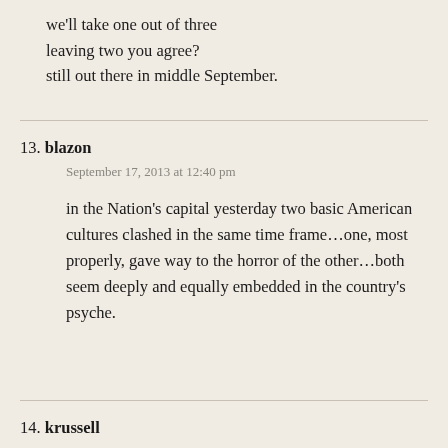we'll take one out of three
leaving two you agree?
still out there in middle September.
13. blazon
September 17, 2013 at 12:40 pm
in the Nation’s capital yesterday two basic American cultures clashed in the same time frame…one, most properly, gave way to the horror of the other…both seem deeply and equally embedded in the country’s psyche.
14. krussell